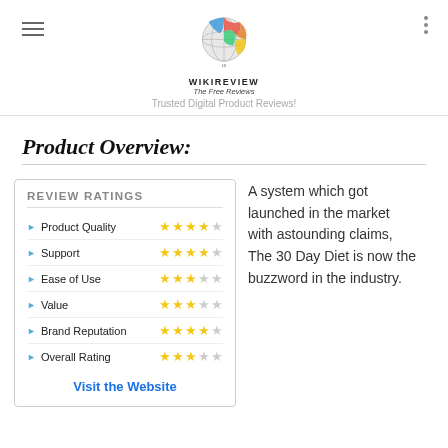WIKIREVIEW The Free Reviews — Trusted Digital Product Reviews!
Product Overview:
| Category | Rating |
| --- | --- |
| Product Quality | 4/5 stars |
| Support | 4/5 stars |
| Ease of Use | 3/5 stars |
| Value | 3/5 stars |
| Brand Reputation | 4/5 stars |
| Overall Rating | 3/5 stars |
Visit the Website
A system which got launched in the market with astounding claims, The 30 Day Diet is now the buzzword in the industry.